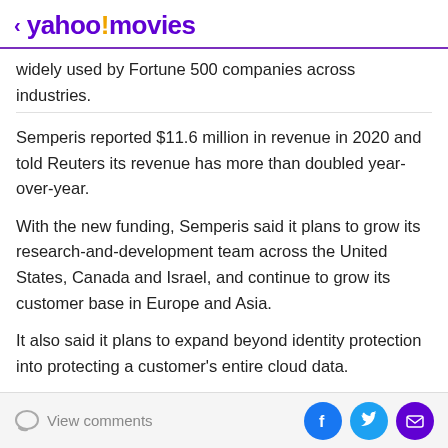< yahoo!movies
widely used by Fortune 500 companies across industries.
Semperis reported $11.6 million in revenue in 2020 and told Reuters its revenue has more than doubled year-over-year.
With the new funding, Semperis said it plans to grow its research-and-development team across the United States, Canada and Israel, and continue to grow its customer base in Europe and Asia.
It also said it plans to expand beyond identity protection into protecting a customer's entire cloud data.
KKR is investing through its Next Generation Technology
View comments